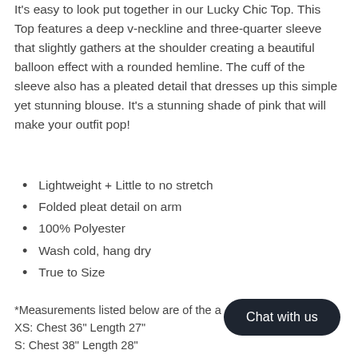It's easy to look put together in our Lucky Chic Top. This Top features a deep v-neckline and three-quarter sleeve that slightly gathers at the shoulder creating a beautiful balloon effect with a rounded hemline. The cuff of the sleeve also has a pleated detail that dresses up this simple yet stunning blouse. It's a stunning shade of pink that will make your outfit pop!
Lightweight + Little to no stretch
Folded pleat detail on arm
100% Polyester
Wash cold, hang dry
True to Size
*Measurements listed below are of the a…n*
XS: Chest 36" Length 27"
S: Chest 38" Length 28"